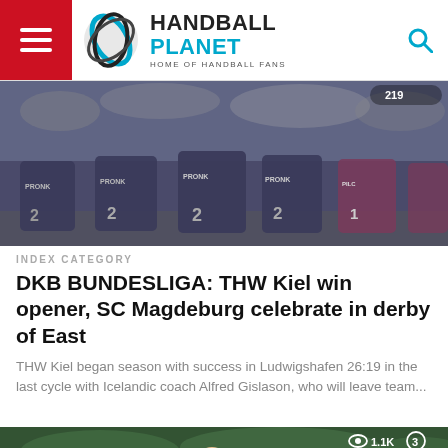HANDBALL PLANET - HOME OF HANDBALL FANS
[Figure (photo): Handball players from behind showing PRONK jerseys with numbers, crowded arena in background. View count badge showing 219.]
INDEX CATEGORY
DKB BUNDESLIGA: THW Kiel win opener, SC Magdeburg celebrate in derby of East
THW Kiel began season with success in Ludwigshafen 26:19 in the last cycle with Icelandic coach Alfred Gislason, who will leave team...
[Figure (photo): Three handball players celebrating with smiles, green jerseys, crowd in background. Eye icon 1.1K views, chat icon 3 comments.]